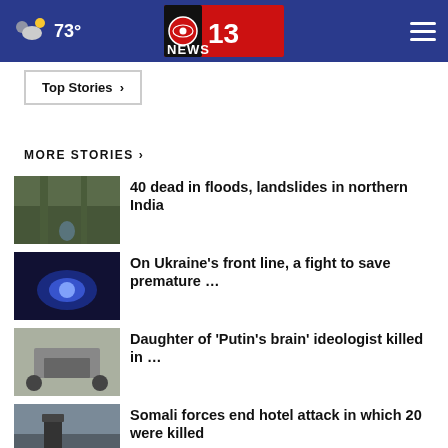73° CBS 13 NEWS
Top Stories ›
MORE STORIES ›
40 dead in floods, landslides in northern India
On Ukraine's front line, a fight to save premature …
Daughter of 'Putin's brain' ideologist killed in …
Somali forces end hotel attack in which 20 were killed
Russia's war at 6 months: A global